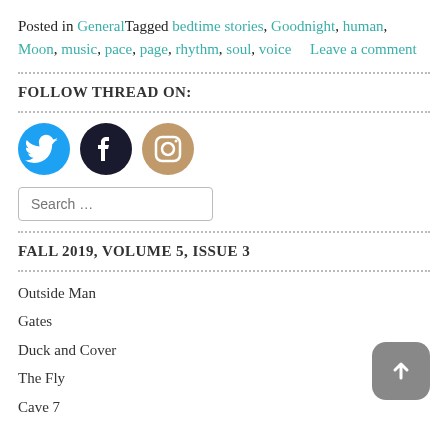Posted in GeneralTagged bedtime stories, Goodnight, human, Moon, music, pace, page, rhythm, soul, voice    Leave a comment
FOLLOW THREAD ON:
[Figure (illustration): Three social media icons: Twitter (blue bird), Facebook (dark blue f), Instagram (tan camera)]
Search …
FALL 2019, VOLUME 5, ISSUE 3
Outside Man
Gates
Duck and Cover
The Fly
Cave 7